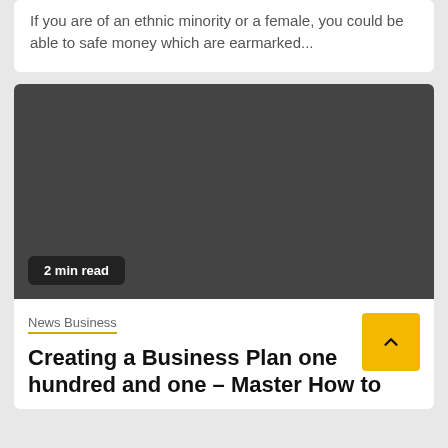If you are of an ethnic minority or a female, you could be able to safe money which are earmarked...
[Figure (photo): Dark grey placeholder image block with a '2 min read' badge in the lower left corner]
2 min read
News Business
Creating a Business Plan one hundred and one – Master How to